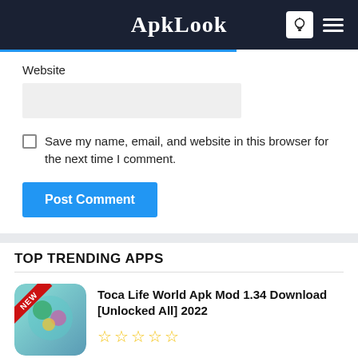ApkLook
Website
Save my name, email, and website in this browser for the next time I comment.
Post Comment
TOP TRENDING APPS
Toca Life World Apk Mod 1.34 Download [Unlocked All] 2022